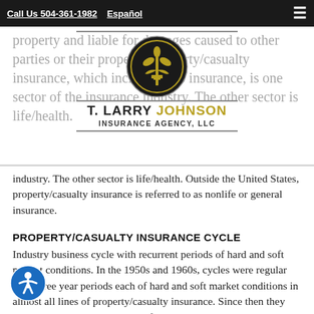Call Us 504-361-1982   Español
[Figure (logo): T. Larry Johnson Insurance Agency, LLC logo — circular emblem with fleur-de-lis in gold and black, with horizontal rules and agency name below]
property and liable for damages caused to other parties or their property. Property/casualty insurance, which includes auto insurance, is one sector of the insurance industry. The other sector is life/health. Outside the United States, property/casualty insurance is referred to as nonlife or general insurance.
PROPERTY/CASUALTY INSURANCE CYCLE
Industry business cycle with recurrent periods of hard and soft market conditions. In the 1950s and 1960s, cycles were regular with three year periods each of hard and soft market conditions in almost all lines of property/casualty insurance. Since then they have been less regular and less frequent.